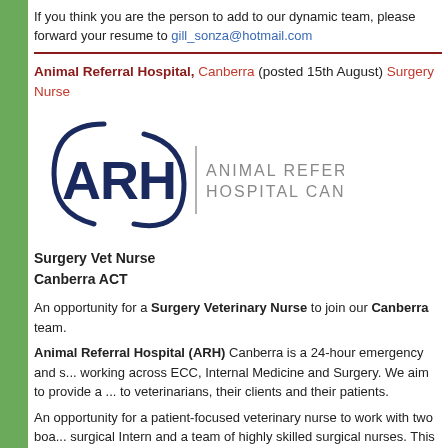If you think you are the person to add to our dynamic team, please forward your resume to gill_sonza@hotmail.com
Animal Referral Hospital, Canberra (posted 15th August) Surgery Nurse
[Figure (logo): ARH Animal Referral Hospital Canberra logo with arc design and text]
Surgery Vet Nurse
Canberra ACT
An opportunity for a Surgery Veterinary Nurse to join our Canberra team.
Animal Referral Hospital (ARH) Canberra is a 24-hour emergency and s... working across ECC, Internal Medicine and Surgery. We aim to provide a ... to veterinarians, their clients and their patients.
An opportunity for a patient-focused veterinary nurse to work with two boa... surgical Intern and a team of highly skilled surgical nurses. This position is... weekday shifts Monday to Friday, primarily focused on assisting with surgi... theatre set-up and maintenance, anaesthetic monitoring, surgical prep, ca... post-operative patient care.
About Your New Role